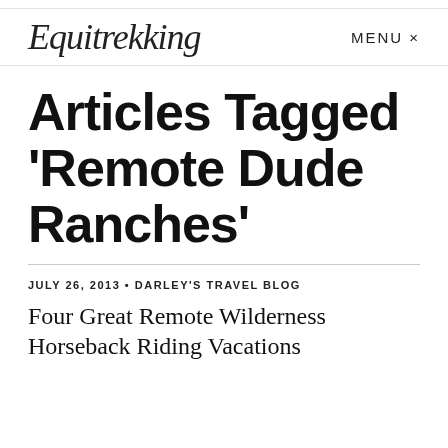Equitrekking   MENU ×
Articles Tagged 'Remote Dude Ranches'
JULY 26, 2013 • DARLEY'S TRAVEL BLOG
Four Great Remote Wilderness Horseback Riding Vacations